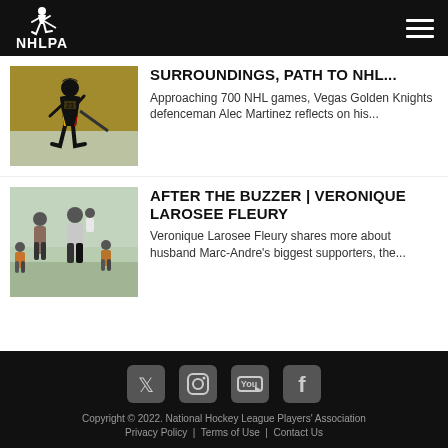NHLPA
[Figure (photo): Hockey player on ice in Vegas Golden Knights uniform, number 23]
SURROUNDINGS, PATH TO NHL...
Approaching 700 NHL games, Vegas Golden Knights defenceman Alec Martinez reflects on his...
[Figure (photo): Family photo with woman, man, and two young children outdoors]
AFTER THE BUZZER | VERONIQUE LAROSEE FLEURY
Veronique Larosee Fleury shares more about husband Marc-Andre's biggest supporters, the...
Copyright © 2022. National Hockey League Players' Association  Privacy Policy  |  Terms of Use  |  Contact Us